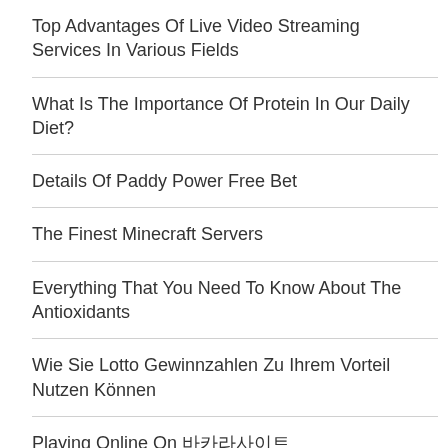Top Advantages Of Live Video Streaming Services In Various Fields
What Is The Importance Of Protein In Our Daily Diet?
Details Of Paddy Power Free Bet
The Finest Minecraft Servers
Everything That You Need To Know About The Antioxidants
Wie Sie Lotto Gewinnzahlen Zu Ihrem Vorteil Nutzen Können
Playing Online On 바카라사이트
Choose The Best Online Casino For A